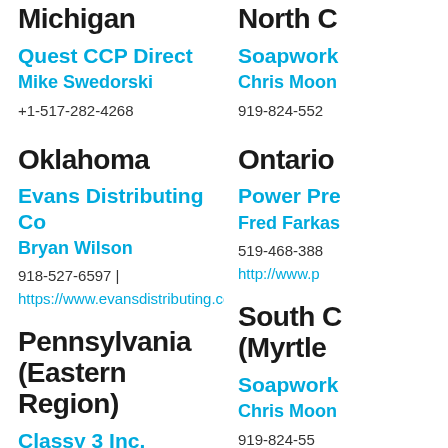Michigan
Quest CCP Direct
Mike Swedorski
+1-517-282-4268
North C
Soapwork
Chris Moon
919-824-552
Oklahoma
Evans Distributing Co
Bryan Wilson
918-527-6597 |
https://www.evansdistributing.com/
Ontario
Power Pre
Fred Farkas
519-468-388
http://www.p
Pennsylvania (Eastern Region)
Classy 3 Inc.
Ed Mady Jr.
570-366-9339 |
South C (Myrtle
Soapwork
Chris Moon
919-824-55